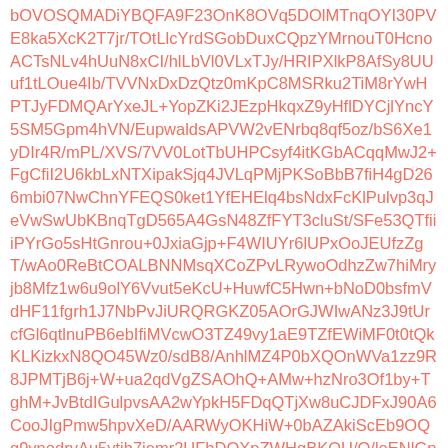bOVOSQMADiYBQFA9F23OnK8OVq5DOlMTnqOYI30PVE8ka5XcK2T7jr/TOtLlcYrdSGobDuxCQpzYMrnouT0HcnoACTsNLv4hUuN8xCI/hlLbVl0VLxTJy/HRIPXlkP8AfSy8UUuf1tLOue4Ib/TVVNxDxDzQtz0mKpC8MSRku2TiM8rYwHPTJyFDMQArYxeJL+YopZKi2JEzpHkqxZ9yHflDYCjlYncY5SM5Gpm4hVN/EupwaldsAPVW2vENrbq8qf5oz/bS6Xe1yDIr4R/mPL/XVS/7VV0LotTbUHPCsyf4itKGbACqqMwJ2+FgCfiI2U6kbLxNTXipakSjq4JVLqPMjPKSoBbB7fiH4gD266mbi07NwChnYFEQS0ket1YfEHElq4bsNdxFcKlPulvp3qJeVwSwUbKBnqTgD565A4GsN48ZfFYT3cluSt/SFe53QTfiiiPYrGo5sHtGnrou+0JxiaGjp+F4WIUYr6lUPxOoJEUfzZgT/wAo0ReBtCOALBNNMsqXCoZPvLRywoOdhzZw7hiMryjb8Mfz1w6u9olY6Vvut5eKcU+HuwfC5Hwn+bNoD0bsfmVdHF11fgrh1J7NbPvJiURQRGKZ05AOrGJWIwANz3J9tUrcfGl6qtlnuPB6ebIfiMVcwO3TZ49vy1aE9TZfEWiMF0t0tQkKLKizkxN8QO45Wz0/sdB8/AnhlMZ4P0bXQOnWVa1zz9R8JPMTjB6j+W+ua2qdVgZSAOhQ+AMw+hzNro3Of1by+TghM+JvBtdIGulpvsAA2wYpkH5FDqQTjXw8uCJDFxJ90A6CooJIgPmw5hpvXeD/AARWyOKHiW+0bAZAkiScEb9OQg9vnodrvAu5ytjh7iemr2UFhDOXpZWHqBKOU/Q/loENlGpAPkrA6i4dncffewne+3zIP6o+tlutNzSaOy3